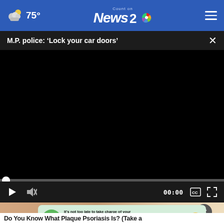75° Count on News 2
M.P. police: 'Lock your car doors'
[Figure (screenshot): Video player with black screen, progress bar, and controls (play, mute, timestamp 00:00, captions, fullscreen)]
[Figure (photo): Thumbnail image with skin-tone background, advertisement overlay for AARP retirement tips]
Do You Know What Plaque Psoriasis Is? (Take a
It's not too late to take charge of your retirement. Get your top 3 tips →